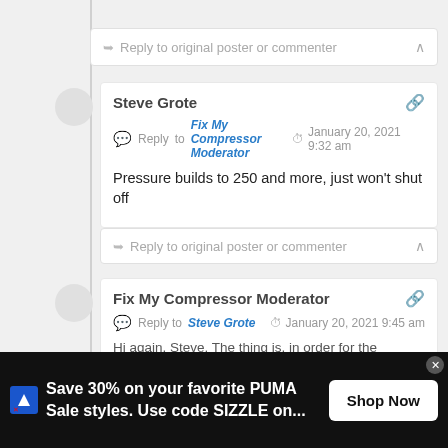Reply to original poster or commenter
Steve Grote
Reply to Fix My Compressor Moderator — January 20, 2021 9:32 am
Pressure builds to 250 and more, just won't shut off
Reply to original poster or commenter
Fix My Compressor Moderator
Reply to Steve Grote — January 20, 2021 9:45 am
Hi again, Steve. The thing is, in order for the compressor to
Save 30% on your favorite PUMA Sale styles. Use code SIZZLE on...